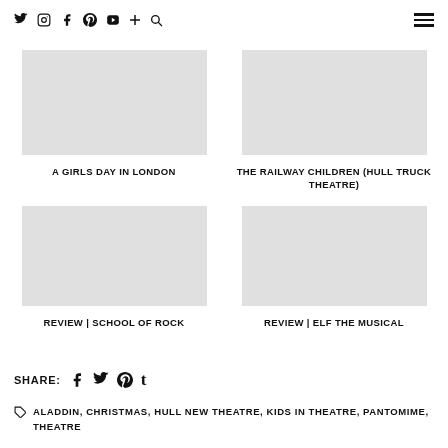Social icons: twitter, instagram, facebook, pinterest, youtube, plus, search | hamburger menu
A GIRLS DAY IN LONDON
THE RAILWAY CHILDREN (HULL TRUCK THEATRE)
REVIEW | SCHOOL OF ROCK
REVIEW | ELF THE MUSICAL
SHARE:
ALADDIN, CHRISTMAS, HULL NEW THEATRE, KIDS IN THEATRE, PANTOMIME, THEATRE